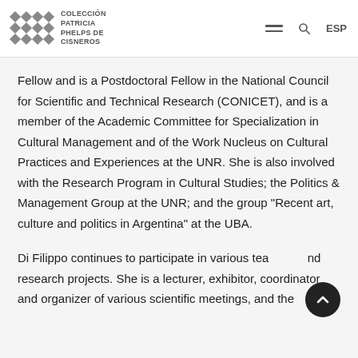COLECCIÓN PATRICIA PHELPS DE CISNEROS
Fellow and is a Postdoctoral Fellow in the National Council for Scientific and Technical Research (CONICET), and is a member of the Academic Committee for Specialization in Cultural Management and of the Work Nucleus on Cultural Practices and Experiences at the UNR. She is also involved with the Research Program in Cultural Studies; the Politics & Management Group at the UNR; and the group "Recent art, culture and politics in Argentina" at the UBA.
Di Filippo continues to participate in various teaching and research projects. She is a lecturer, exhibitor, coordinator and organizer of various scientific meetings, and the